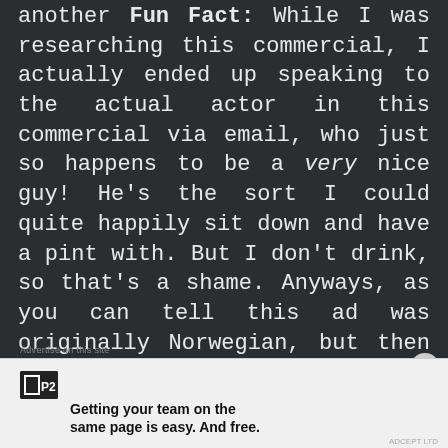another Fun Fact: While I was researching this commercial, I actually ended up speaking to the actual actor in this commercial via email, who just so happens to be a very nice guy! He's the sort I could quite happily sit down and have a pint with. But I don't drink, so that's a shame. Anyways, as you can tell this ad was originally Norwegian, but then dubbed into English to be shown in cinemas. I would love to see the original Norwegian one, but I think that has been lost forever – although this dubbed one is just as macabre. You can see why they named this one 'Devil' because the character is just that. No, not the typical devil with red
[Figure (other): Advertisement banner for P2 app with logo and tagline 'Getting your team on the same page is easy. And free.']